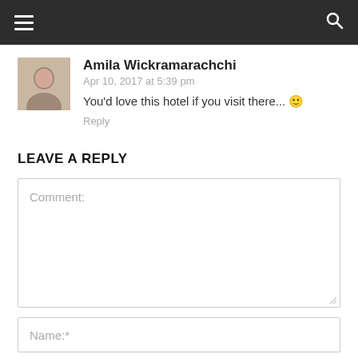Navigation bar with hamburger menu and search icon
Amila Wickramarachchi
Apr 10, 2017 at 5:39 pm
You'd love this hotel if you visit there... 🙂
Reply
LEAVE A REPLY
Comment:
Name:*